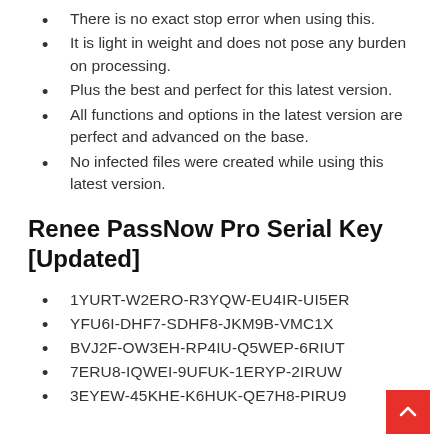There is no exact stop error when using this.
It is light in weight and does not pose any burden on processing.
Plus the best and perfect for this latest version.
All functions and options in the latest version are perfect and advanced on the base.
No infected files were created while using this latest version.
Renee PassNow Pro Serial Key [Updated]
1YURT-W2ERO-R3YQW-EU4IR-UI5ER
YFU6I-DHF7-SDHF8-JKM9B-VMC1X
BVJ2F-OW3EH-RP4IU-Q5WEP-6RIUT
7ERU8-IQWEI-9UFUK-1ERYP-2IRUW
3EYEW-45KHE-K6HUK-QE7H8-PIRU9